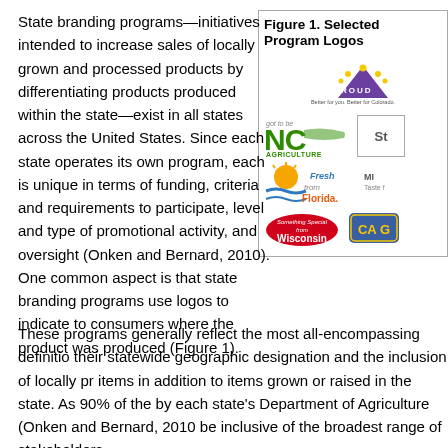State branding programs—initiatives intended to increase sales of locally grown and processed products by differentiating products produced within the state—exist in all states across the United States. Since each state operates its own program, each is unique in terms of funding, criteria and requirements to participate, level and type of promotional activity, and oversight (Onken and Bernard, 2010). One common aspect is that state branding programs use logos to indicate to consumers where the product was produced (Figure 1).
[Figure (illustration): Figure 1. Selected State Branding Program Logos — showing logos for Colorado Proud, NC Agriculture (got to be NC), Fresh from Florida, Something Special from Wisconsin, and California (CA G...), along with partial logos for other states.]
Figure 1. Selected State Branding Program Logos
These programs generally reflect the most all-encompassing definition of local food by their statewide geographic designation and the inclusion of locally processed items in addition to items grown or raised in the state. As 90% of these programs are operated by each state's Department of Agriculture (Onken and Bernard, 2010), they are designed to be inclusive of the broadest range of stakeholders.